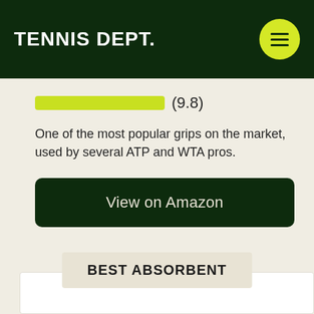TENNIS DEPT.
[Figure (infographic): Yellow-green horizontal rating bar followed by score (9.8)]
One of the most popular grips on the market, used by several ATP and WTA pros.
View on Amazon
BEST ABSORBENT